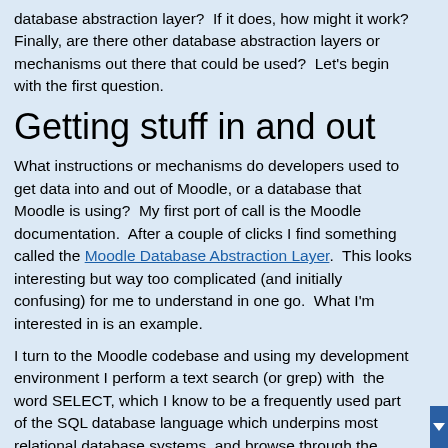database abstraction layer?  If it does, how might it work?  Finally, are there other database abstraction layers or mechanisms out there that could be used?  Let's begin with the first question.
Getting stuff in and out
What instructions or mechanisms do developers used to get data into and out of Moodle, or a database that Moodle is using?  My first port of call is the Moodle documentation.  After a couple of clicks I find something called the Moodle Database Abstraction Layer.  This looks interesting but way too complicated (and initially confusing) for me to understand in one go.  What I'm interested in is an example.
I turn to the Moodle codebase and using my development environment I perform a text search (or grep) with  the word SELECT, which I know to be a frequently used part of the SQL database language which underpins most relational database systems, and browse through the results.  I quickly uncover a function called get_record_sql which seems to be the way to